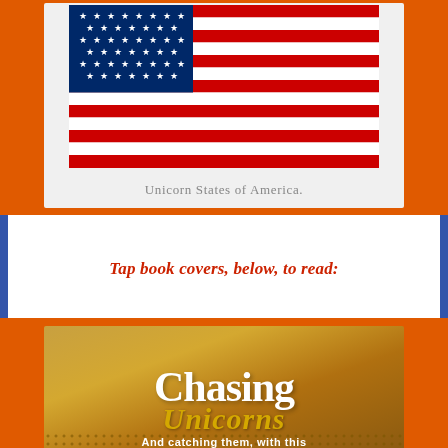[Figure (illustration): A simplified American flag ('Unicorn States of America') shown on a light gray card background with red and white stripes and blue canton with stars.]
Unicorn States of America.
Tap book covers, below, to read:
[Figure (illustration): Book cover for 'Chasing Unicorns' with golden-brown gradient background. Large white serif text 'Chasing' and gold italic script 'Unicorns' with subtitle text 'And catching them, with this'.]